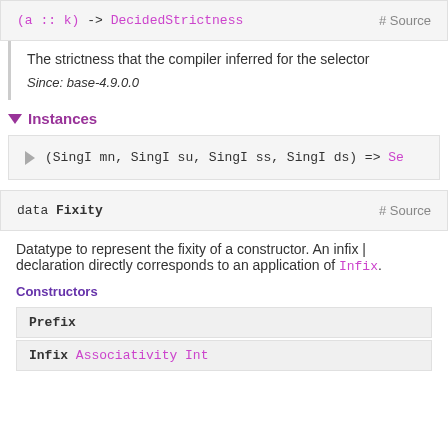(a :: k) -> DecidedStrictness  # Source
The strictness that the compiler inferred for the selector
Since: base-4.9.0.0
▽ Instances
▷  (SingI mn, SingI su, SingI ss, SingI ds) => Se
data Fixity  # Source
Datatype to represent the fixity of a constructor. An infix | declaration directly corresponds to an application of Infix.
Constructors
Prefix
Infix Associativity Int